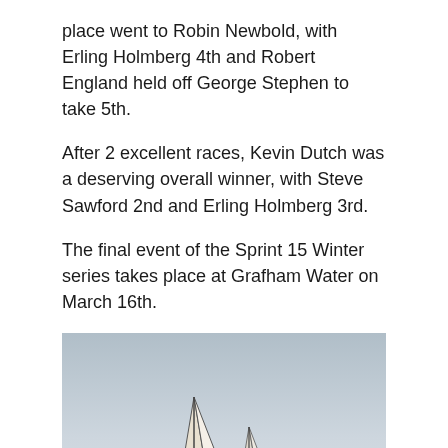place went to Robin Newbold, with Erling Holmberg 4th and Robert England held off George Stephen to take 5th.
After 2 excellent races, Kevin Dutch was a deserving overall winner, with Steve Sawford 2nd and Erling Holmberg 3rd.
The final event of the Sprint 15 Winter series takes place at Grafham Water on March 16th.
[Figure (photo): Photograph of sailboats on water with a pale grey-blue sky background. Two sail tops are visible at the bottom centre of the image.]